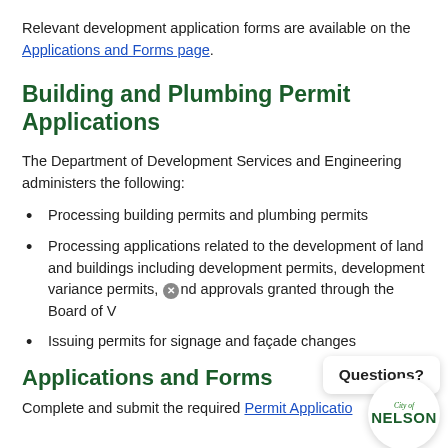Relevant development application forms are available on the Applications and Forms page.
Building and Plumbing Permit Applications
The Department of Development Services and Engineering administers the following:
Processing building permits and plumbing permits
Processing applications related to the development of land and buildings including development permits, development variance permits, and approvals granted through the Board of V...
Issuing permits for signage and façade changes
Applications and Forms
Complete and submit the required Permit Applicatio...